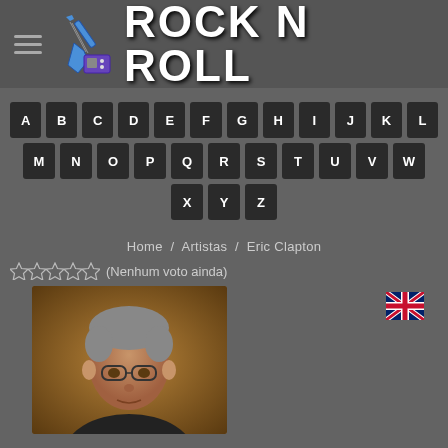ROCK N ROLL
A B C D E F G H I J K L M N O P Q R S T U V W X Y Z
Home / Artistas / Eric Clapton
☆☆☆☆☆ (Nenhum voto ainda)
[Figure (photo): Photo of Eric Clapton, older man with gray hair and glasses]